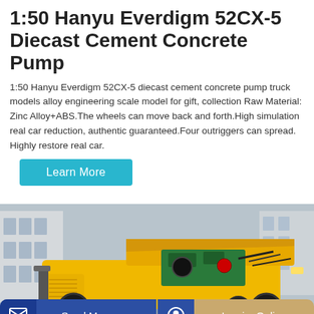1:50 Hanyu Everdigm 52CX-5 Diecast Cement Concrete Pump
1:50 Hanyu Everdigm 52CX-5 diecast cement concrete pump truck models alloy engineering scale model for gift, collection Raw Material: Zinc Alloy+ABS.The wheels can move back and forth.High simulation real car reduction, authentic guaranteed.Four outriggers can spread. Highly restore real car.
[Figure (photo): Yellow Hanyu Everdigm cement concrete pump truck with open hood showing green engine, photographed in a warehouse/industrial setting]
Send Message
Inquiry Online